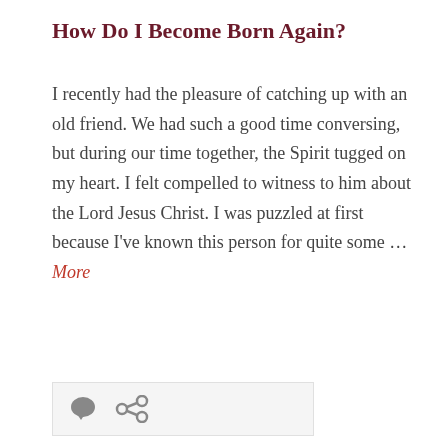How Do I Become Born Again?
I recently had the pleasure of catching up with an old friend. We had such a good time conversing, but during our time together, the Spirit tugged on my heart. I felt compelled to witness to him about the Lord Jesus Christ. I was puzzled at first because I've known this person for quite some … More
[Figure (illustration): Decorative image with yellow floral top section and light green lower section with cursive text 'Have' visible]